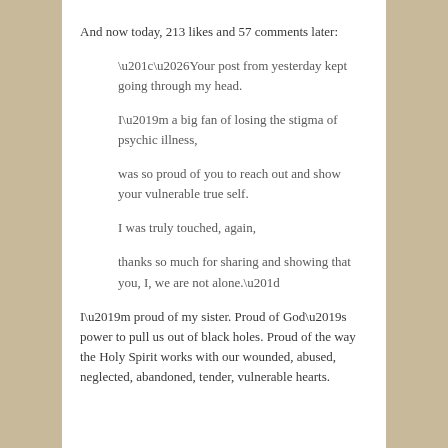And now today, 213 likes and 57 comments later:
“…Your post from yesterday kept going through my head.

I’m a big fan of losing the stigma of psychic illness,

was so proud of you to reach out and show your vulnerable true self.

I was truly touched, again,

thanks so much for sharing and showing that you, I, we are not alone.”
I’m proud of my sister. Proud of God’s power to pull us out of black holes. Proud of the way the Holy Spirit works with our wounded, abused, neglected, abandoned, tender, vulnerable hearts.